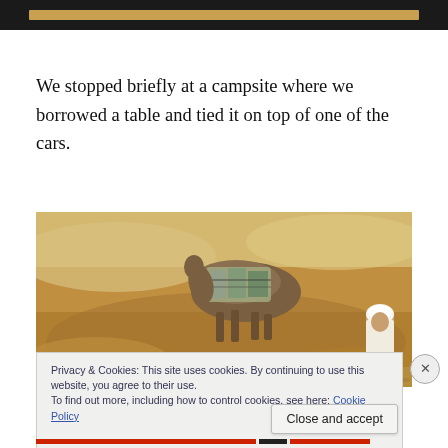[Figure (screenshot): Top dark bar with golden/tan horizontal bar element, partial screenshot of previous content]
We stopped briefly at a campsite where we borrowed a table and tied it on top of one of the cars.
[Figure (photo): Desert sandy scene with a laden camel or cargo tied on something, sandy rocky terrain, person with white cap visible at right edge]
Privacy & Cookies: This site uses cookies. By continuing to use this website, you agree to their use.
To find out more, including how to control cookies, see here: Cookie Policy
Close and accept